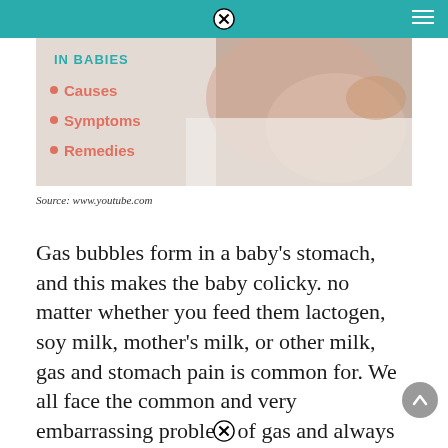[Figure (photo): A newborn baby lying on a white blanket with an adult hand visible, overlaid with text listing 'IN BABIES • Causes • Symptoms • Remedies' in a teal/coral color scheme on the left side of the image.]
Source: www.youtube.com
Gas bubbles form in a baby's stomach, and this makes the baby colicky. no matter whether you feed them lactogen, soy milk, mother's milk, or other milk, gas and stomach pain is common for. We all face the common and very embarrassing problem of gas and always try to find solutions to overcome it.